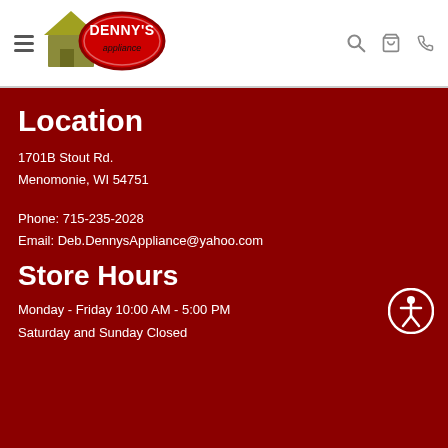[Figure (logo): Denny's Appliance logo with house icon and red oval]
Location
1701B Stout Rd.
Menomonie, WI 54751
Phone: 715-235-2028
Email: Deb.DennysAppliance@yahoo.com
Store Hours
Monday - Friday 10:00 AM - 5:00 PM
Saturday and Sunday Closed